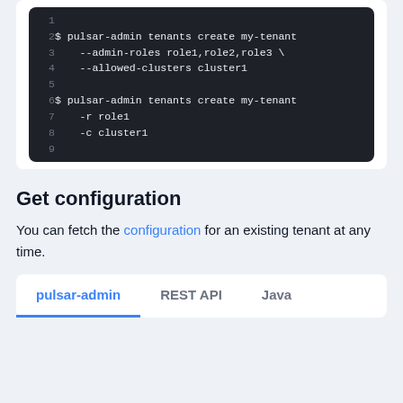[Figure (screenshot): Dark-themed code block showing pulsar-admin CLI commands for creating a tenant with admin roles and allowed clusters, with line numbers 1-9.]
Get configuration
You can fetch the configuration for an existing tenant at any time.
pulsar-admin   REST API   Java